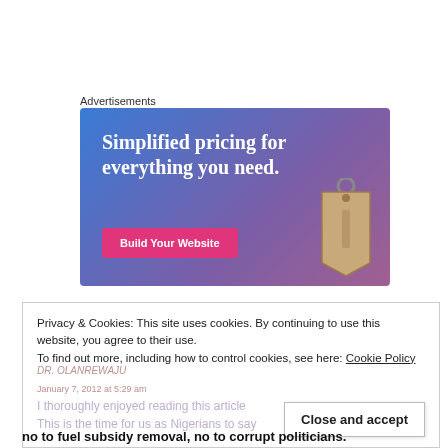Advertisements
[Figure (illustration): Advertisement banner with blue-purple gradient background. Text reads 'Simplified pricing for everything you need.' with a pink 'Build Your Website' button and a price tag graphic on the right.]
Privacy & Cookies: This site uses cookies. By continuing to use this website, you agree to their use.
To find out more, including how to control cookies, see here: Cookie Policy
Close and accept
no to fuel subsidy removal, no to corrupt politicians.